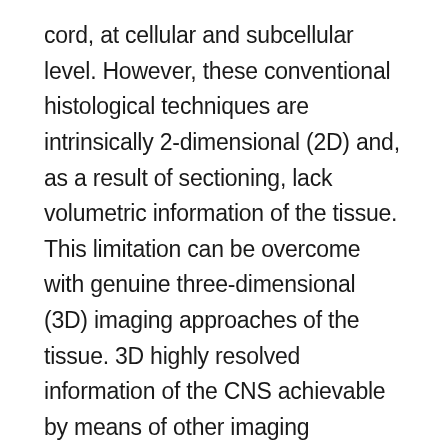cord, at cellular and subcellular level. However, these conventional histological techniques are intrinsically 2-dimensional (2D) and, as a result of sectioning, lack volumetric information of the tissue. This limitation can be overcome with genuine three-dimensional (3D) imaging approaches of the tissue. 3D highly resolved information of the CNS achievable by means of other imaging techniques can complement and improve the interpretation of MRI measurements. In this article, we provide an overview of different 3D imaging techniques that can be used to validate MRI. As an example, we introduce an approach of how to combine diffusion MRI and synchrotron X-ray phase contrast tomography (SXRPCT) data. Our approach paves